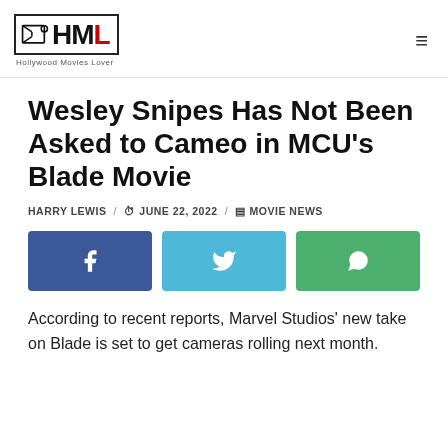HML Hollywood Movies Lover
Wesley Snipes Has Not Been Asked to Cameo in MCU's Blade Movie
HARRY LEWIS / JUNE 22, 2022 / MOVIE NEWS
[Figure (infographic): Three social share buttons: Facebook (blue), Twitter (light blue), WhatsApp (green)]
According to recent reports, Marvel Studios' new take on Blade is set to get cameras rolling next month.